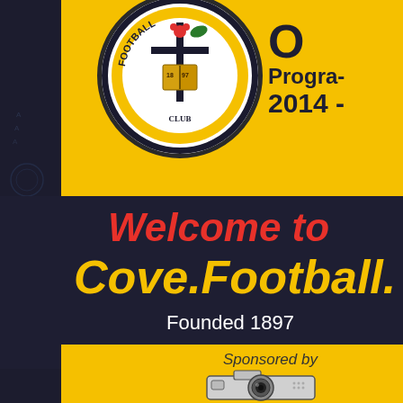[Figure (logo): Cove Football Club circular badge logo with 1897 founding date, book, and cross emblem on yellow and black background]
O Programme 2014 -
Welcome to Cove.Football.
Founded 1897
Sponsored by
[Figure (illustration): Camera/photography equipment illustration]